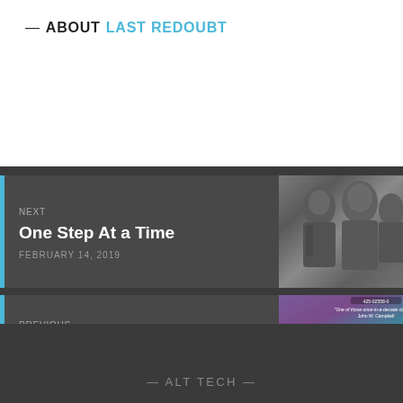— ABOUT LAST REDOUBT
NEXT
One Step At a Time
FEBRUARY 14, 2019
[Figure (photo): Stone sculpture relief showing two figures]
PREVIOUS
Neurolinguistic Programming and Modern Society
FEBRUARY 09, 2019
[Figure (photo): Book cover showing 'E. van Vo... World of Null' with quote from John W. Campbell]
— ALT TECH —